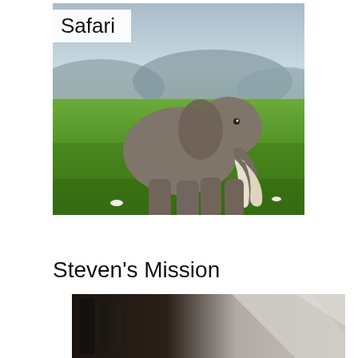[Figure (photo): A large African elephant with prominent white tusks standing on green grassland with mountains in the background under a hazy sky. A white label overlay in the top center reads 'Safari'.]
Steven's Mission
[Figure (photo): Partially visible dark/blurred image at the bottom of the page, appears to show some mechanical or industrial subject matter with dark and grey tones.]